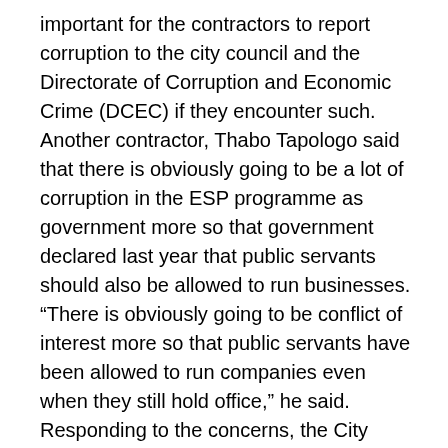important for the contractors to report corruption to the city council and the Directorate of Corruption and Economic Crime (DCEC) if they encounter such. Another contractor, Thabo Tapologo said that there is obviously going to be a lot of corruption in the ESP programme as government more so that government declared last year that public servants should also be allowed to run businesses. “There is obviously going to be conflict of interest more so that public servants have been allowed to run companies even when they still hold office,” he said. Responding to the concerns, the City Clerk Israel acknowledged that there was corruption, but urged the contractors to work closely with the city council to uproot it. He however urged the contractors to utilize ESP to their benefit